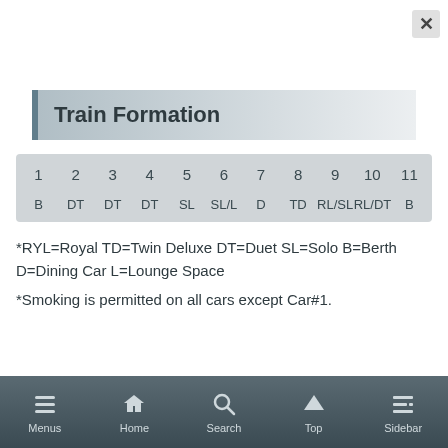Train Formation
| 1 | 2 | 3 | 4 | 5 | 6 | 7 | 8 | 9 | 10 | 11 |
| --- | --- | --- | --- | --- | --- | --- | --- | --- | --- | --- |
| B | DT | DT | DT | SL | SL/L | D | TD | RL/SL | RL/DT | B |
*RYL=Royal TD=Twin Deluxe DT=Duet SL=Solo B=Berth D=Dining Car L=Lounge Space
*Smoking is permitted on all cars except Car#1.
Menus  Home  Search  Top  Sidebar